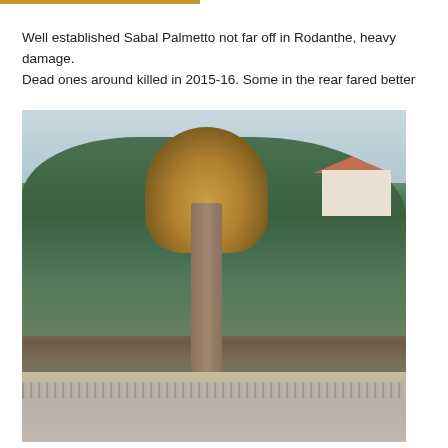Well established Sabal Palmetto not far off in Rodanthe, heavy damage. Dead ones around killed in 2015-16. Some in the rear fared better
[Figure (photo): Photograph of a Sabal Palmetto palm tree with heavily damaged/dead brown fronds, standing in front of green shrubs and trees, with a building visible in the upper right background, and a chain-link fence and concrete wall in the foreground.]